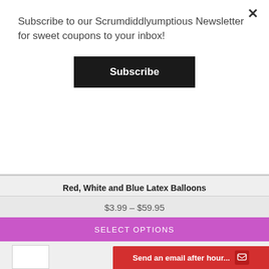Subscribe to our Scrumdiddlyumptious Newsletter for sweet coupons to your inbox!
Subscribe
Red, White and Blue Latex Balloons
[Figure (other): 5 star rating icons (empty/grey stars)]
Add a balloon bouquet to your order of Cupcakes or Treats to make a...
$3.99 – $59.95
SELECT OPTIONS
Send an email after hour...